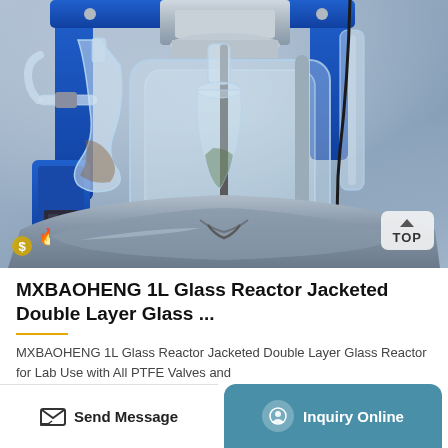[Figure (photo): Close-up photo of a MXBAOHENG 1L Glass Reactor Jacketed Double Layer Glass Reactor lab equipment. The image shows blue metal frame support structure, glass reactor vessels, glass tubes, connectors, stirrer shaft, and stainless steel bowl. A 'TOP' navigation button is visible in the bottom-right corner of the image. Alibaba/trade platform badges visible at bottom-left.]
MXBAOHENG 1L Glass Reactor Jacketed Double Layer Glass ...
MXBAOHENG 1L Glass Reactor Jacketed Double Layer Glass Reactor for Lab Use with All PTFE Valves and